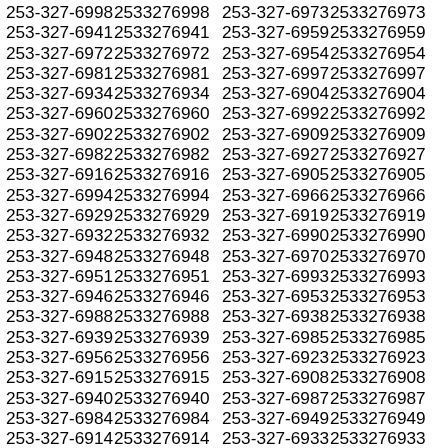| 253-327-6998 | 2533276998 | 253-327-6973 | 2533276973 |
| 253-327-6941 | 2533276941 | 253-327-6959 | 2533276959 |
| 253-327-6972 | 2533276972 | 253-327-6954 | 2533276954 |
| 253-327-6981 | 2533276981 | 253-327-6997 | 2533276997 |
| 253-327-6934 | 2533276934 | 253-327-6904 | 2533276904 |
| 253-327-6960 | 2533276960 | 253-327-6992 | 2533276992 |
| 253-327-6902 | 2533276902 | 253-327-6909 | 2533276909 |
| 253-327-6982 | 2533276982 | 253-327-6927 | 2533276927 |
| 253-327-6916 | 2533276916 | 253-327-6905 | 2533276905 |
| 253-327-6994 | 2533276994 | 253-327-6966 | 2533276966 |
| 253-327-6929 | 2533276929 | 253-327-6919 | 2533276919 |
| 253-327-6932 | 2533276932 | 253-327-6990 | 2533276990 |
| 253-327-6948 | 2533276948 | 253-327-6970 | 2533276970 |
| 253-327-6951 | 2533276951 | 253-327-6993 | 2533276993 |
| 253-327-6946 | 2533276946 | 253-327-6953 | 2533276953 |
| 253-327-6988 | 2533276988 | 253-327-6938 | 2533276938 |
| 253-327-6939 | 2533276939 | 253-327-6985 | 2533276985 |
| 253-327-6956 | 2533276956 | 253-327-6923 | 2533276923 |
| 253-327-6915 | 2533276915 | 253-327-6908 | 2533276908 |
| 253-327-6940 | 2533276940 | 253-327-6987 | 2533276987 |
| 253-327-6984 | 2533276984 | 253-327-6949 | 2533276949 |
| 253-327-6914 | 2533276914 | 253-327-6933 | 2533276933 |
| 253-327-6958 | 2533276958 | 253-327-6936 | 2533276936 |
| 253-327-6907 | 2533276907 | 253-327-6961 | 2533276961 |
| 253-327-6996 | 2533276996 | 253-327-6910 | 2533276910 |